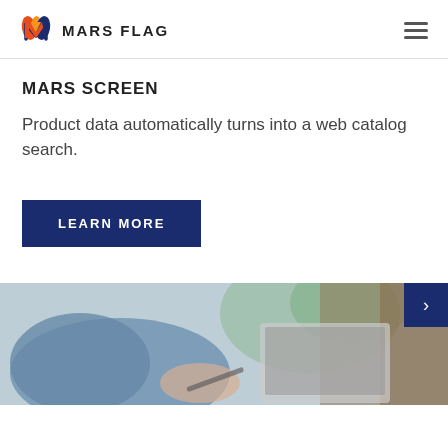MARS FLAG
MARS SCREEN
Product data automatically turns into a web catalog search.
LEARN MORE
[Figure (photo): Person in blue shirt writing with a pen near a laptop, with blurred green and brown background.]